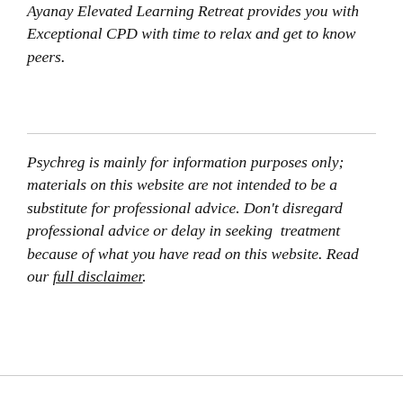Ayanay Elevated Learning Retreat provides you with Exceptional CPD with time to relax and get to know peers.
Psychreg is mainly for information purposes only; materials on this website are not intended to be a substitute for professional advice. Don't disregard professional advice or delay in seeking  treatment because of what you have read on this website. Read our full disclaimer.